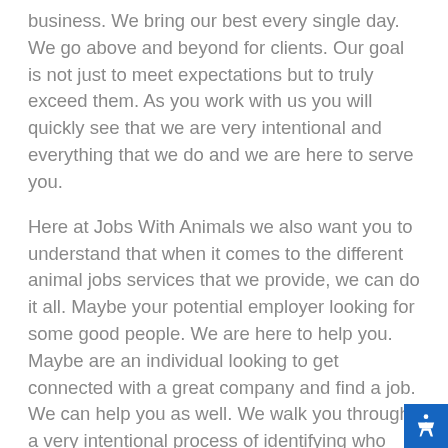business. We bring our best every single day. We go above and beyond for clients. Our goal is not just to meet expectations but to truly exceed them. As you work with us you will quickly see that we are very intentional and everything that we do and we are here to serve you.
Here at Jobs With Animals we also want you to understand that when it comes to the different animal jobs services that we provide, we can do it all. Maybe your potential employer looking for some good people. We are here to help you. Maybe are an individual looking to get connected with a great company and find a job. We can help you as well. We walk you through a very intentional process of identifying who you are and what you are like you and then we intentionally match you with the right organization. Begin walking through this process with us today.